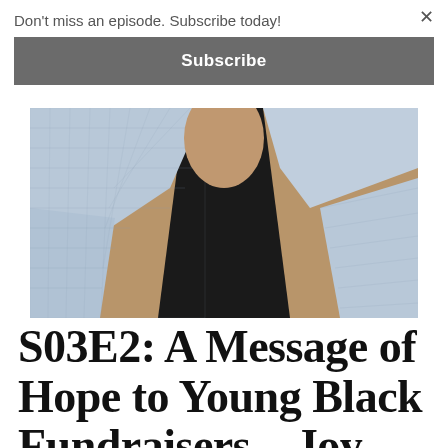Don't miss an episode. Subscribe today!
Subscribe
[Figure (photo): Close-up photo of a person wearing a light blue/grey plaid blazer over a black top, showing the torso/chest area]
S03E2: A Message of Hope to Young Black Fundraisers – Joy